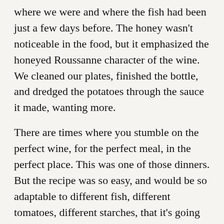where we were and where the fish had been just a few days before. The honey wasn't noticeable in the food, but it emphasized the honeyed Roussanne character of the wine. We cleaned our plates, finished the bottle, and dredged the potatoes through the sauce it made, wanting more.
There are times where you stumble on the perfect wine, for the perfect meal, in the perfect place. This was one of those dinners. But the recipe was so easy, and would be so adaptable to different fish, different tomatoes, different starches, that it's going to be a regular in our arsenal going forward. If you make it, try it with a bottle of Esprit Blanc. It was magical.
Posted at 12:46 PM in Eat Drink Tablas, Food & Wine, Recipes, Travel | Permalink | Comments (2)